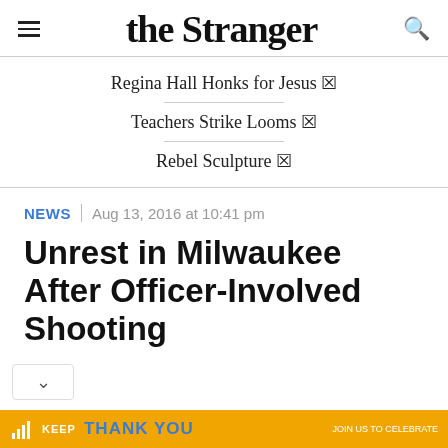the Stranger
Regina Hall Honks for Jesus ☒
Teachers Strike Looms ☒
Rebel Sculpture ☒
NEWS | Aug 13, 2016 at 10:41 pm
Unrest in Milwaukee After Officer-Involved Shooting